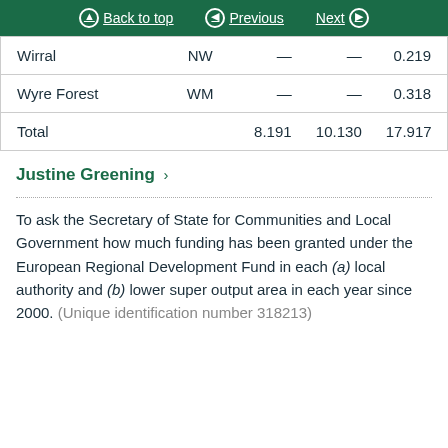Back to top | Previous | Next
|  |  |  |  |  |
| --- | --- | --- | --- | --- |
| Wirral | NW | — | — | 0.219 |
| Wyre Forest | WM | — | — | 0.318 |
| Total |  | 8.191 | 10.130 | 17.917 |
Justine Greening >
To ask the Secretary of State for Communities and Local Government how much funding has been granted under the European Regional Development Fund in each (a) local authority and (b) lower super output area in each year since 2000. (Unique identification number 318213)